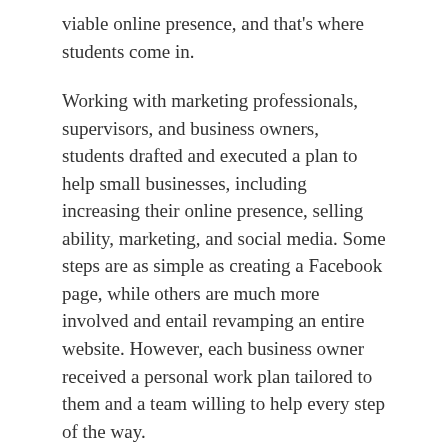viable online presence, and that's where students come in.
Working with marketing professionals, supervisors, and business owners, students drafted and executed a plan to help small businesses, including increasing their online presence, selling ability, marketing, and social media. Some steps are as simple as creating a Facebook page, while others are much more involved and entail revamping an entire website. However, each business owner received a personal work plan tailored to them and a team willing to help every step of the way.
“Make[ing] sure that the participating students feel empowered, feel heard, taken care of, and feel that